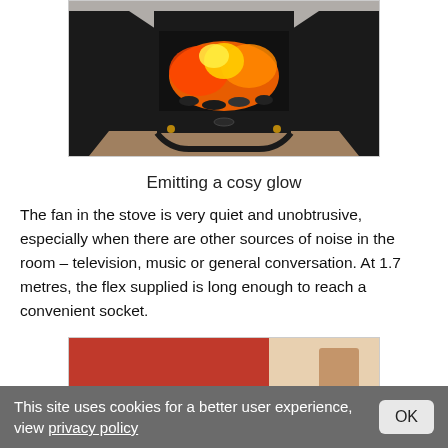[Figure (photo): Photo of an electric fireplace stove with glowing flame effect, sitting on a carpeted floor against a light-colored wall. The stove has a black finish with gold-colored feet and open side doors revealing the flame display.]
Emitting a cosy glow
The fan in the stove is very quiet and unobtrusive, especially when there are other sources of noise in the room – television, music or general conversation. At 1.7 metres, the flex supplied is long enough to reach a convenient socket.
[Figure (photo): Partial photo showing a red/maroon surface with a light-colored background, appearing to be the bottom portion of a product or packaging.]
This site uses cookies for a better user experience, view privacy policy